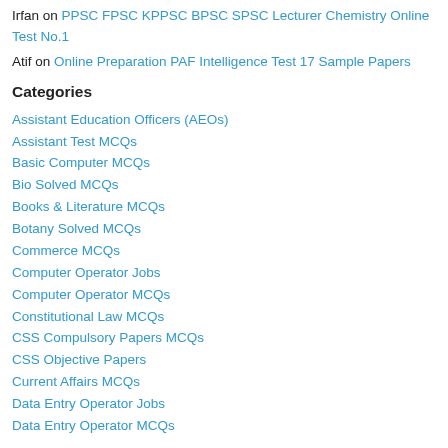Irfan on PPSC FPSC KPPSC BPSC SPSC Lecturer Chemistry Online Test No.1
Atif on Online Preparation PAF Intelligence Test 17 Sample Papers
Categories
Assistant Education Officers (AEOs)
Assistant Test MCQs
Basic Computer MCQs
Bio Solved MCQs
Books & Literature MCQs
Botany Solved MCQs
Commerce MCQs
Computer Operator Jobs
Computer Operator MCQs
Constitutional Law MCQs
CSS Compulsory Papers MCQs
CSS Objective Papers
Current Affairs MCQs
Data Entry Operator Jobs
Data Entry Operator MCQs